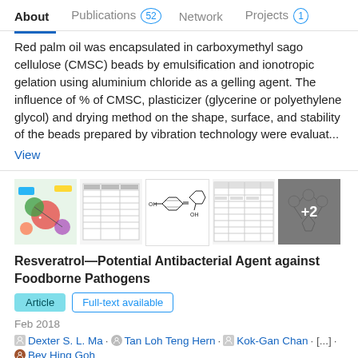About  Publications 52  Network  Projects 1
Red palm oil was encapsulated in carboxymethyl sago cellulose (CMSC) beads by emulsification and ionotropic gelation using aluminium chloride as a gelling agent. The influence of % of CMSC, plasticizer (glycerine or polyethylene glycol) and drying method on the shape, surface, and stability of the beads prepared by vibration technology were evaluat...
View
[Figure (photo): Five thumbnail images from the publication on Resveratrol. First is a colorful diagram, second is a table/text page, third shows chemical structures (benzene ring with OH groups), fourth is another data table, fifth is a molecular diagram on gray background with +2 overlay badge.]
Resveratrol—Potential Antibacterial Agent against Foodborne Pathogens
Article   Full-text available
Feb 2018
Dexter S. L. Ma · Tan Loh Teng Hern · Kok-Gan Chan · [...] · Bey Hing Goh